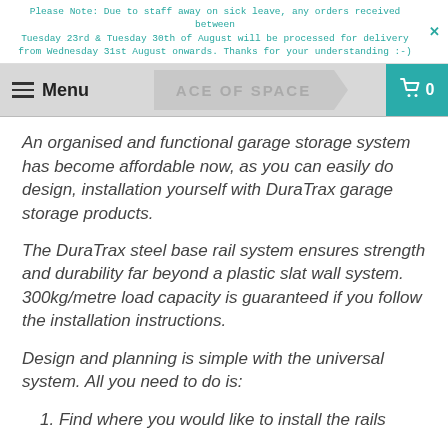Please Note: Due to staff away on sick leave, any orders received between Tuesday 23rd & Tuesday 30th of August will be processed for delivery from Wednesday 31st August onwards. Thanks for your understanding :-)
Menu | ACE OF SPACE | 0
An organised and functional garage storage system has become affordable now, as you can easily do design, installation yourself with DuraTrax garage storage products.
The DuraTrax steel base rail system ensures strength and durability far beyond a plastic slat wall system. 300kg/metre load capacity is guaranteed if you follow the installation instructions.
Design and planning is simple with the universal system. All you need to do is:
1. Find where you would like to install the rails